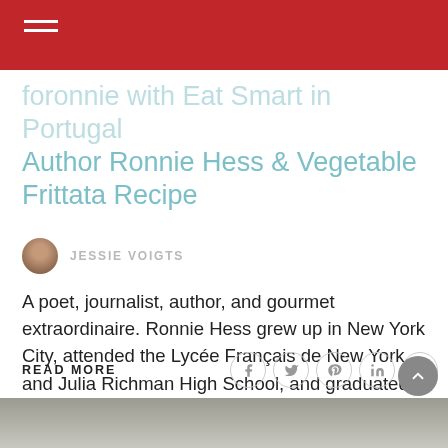foronnie with Eat Smart in Portugal Author Ronnie Hess & Vegetable Frittata Recipe
JESSIE VOIGTS
A poet, journalist, author, and gourmet extraordinaire. Ronnie Hess grew up in New York City, attended the Lycée Français de New York and Julia Richman High School, and graduated from Hunter College, the City University of New York. She earned a master's degree in history from the University of Wisconsin-Madison. Hess began a career in [...]
READ MORE
[Figure (photo): Bottom portion of a photo, partially visible at the bottom of the page]